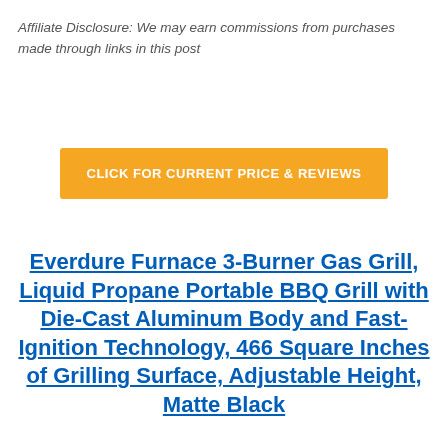Affiliate Disclosure: We may earn commissions from purchases made through links in this post
[Figure (other): Orange button with white uppercase text: CLICK FOR CURRENT PRICE & REVIEWS]
Everdure Furnace 3-Burner Gas Grill, Liquid Propane Portable BBQ Grill with Die-Cast Aluminum Body and Fast-Ignition Technology, 466 Square Inches of Grilling Surface, Adjustable Height, Matte Black